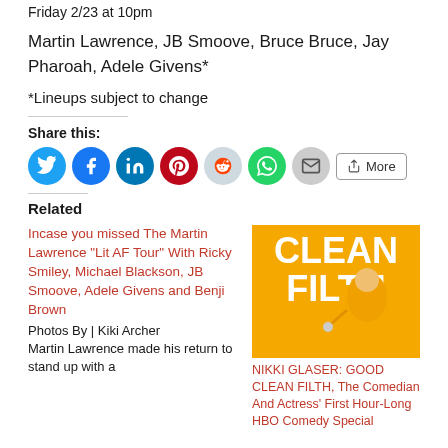Friday 2/23 at 10pm
Martin Lawrence, JB Smoove, Bruce Bruce, Jay Pharoah, Adele Givens*
*Lineups subject to change
Share this:
[Figure (infographic): Social share buttons: Twitter, Facebook, LinkedIn, Pinterest, Reddit, WhatsApp, Email, and More button]
Related
Incase you missed The Martin Lawrence "Lit AF Tour" With Ricky Smiley, Michael Blackson, JB Smoove, Adele Givens and Benji Brown
Photos By | Kiki Archer
Martin Lawrence made his return to stand up with a
[Figure (photo): CLEAN FILTH comedy special poster - yellow background with white bold text 'CLEAN FILTH' and a female comedian in yellow dress holding a microphone]
NIKKI GLASER: GOOD CLEAN FILTH, The Comedian And Actress' First Hour-Long HBO Comedy Special